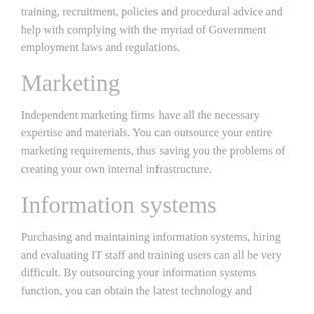training, recruitment, policies and procedural advice and help with complying with the myriad of Government employment laws and regulations.
Marketing
Independent marketing firms have all the necessary expertise and materials. You can outsource your entire marketing requirements, thus saving you the problems of creating your own internal infrastructure.
Information systems
Purchasing and maintaining information systems, hiring and evaluating IT staff and training users can all be very difficult. By outsourcing your information systems function, you can obtain the latest technology and